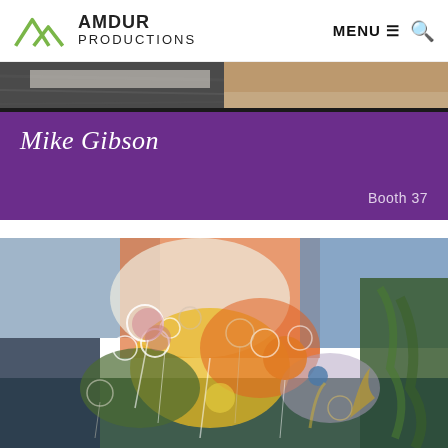AMDUR PRODUCTIONS  MENU  🔍
[Figure (photo): Partial banner showing a textured stone/rock surface photograph cropped at top]
Mike Gibson
Booth 37
[Figure (photo): Abstract colorful painting by Mike Gibson featuring circular flower-like shapes in yellow, orange, pink, white, and blue tones on a textured background with greens and blues suggesting a garden scene]